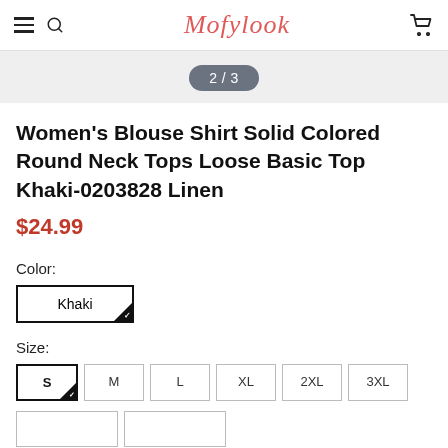Mofylook
2 / 3
Women's Blouse Shirt Solid Colored Round Neck Tops Loose Basic Top Khaki-0203828 Linen
$24.99
Color:
Khaki
Size:
S  M  L  XL  2XL  3XL